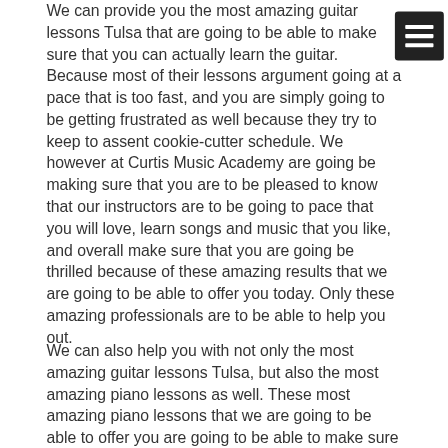We can provide you the most amazing guitar lessons Tulsa that are going to be able to make sure that you can actually learn the guitar. Because most of their lessons argument going at a pace that is too fast, and you are simply going to be getting frustrated as well because they try to keep to assent cookie-cutter schedule. We however at Curtis Music Academy are going be making sure that you are to be pleased to know that our instructors are to be going to pace that you will love, learn songs and music that you like, and overall make sure that you are going be thrilled because of these amazing results that we are going to be able to offer you today. Only these amazing professionals are to be able to help you out.
We can also help you with not only the most amazing guitar lessons Tulsa, but also the most amazing piano lessons as well. These most amazing piano lessons that we are going to be able to offer you are going to be able to make sure that you can start playing like a